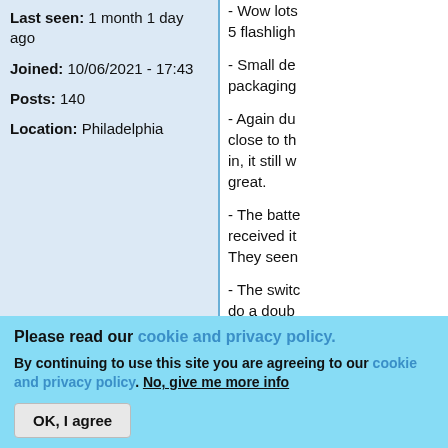Last seen: 1 month 1 day ago
Joined: 10/06/2021 - 17:43
Posts: 140
Location: Philadelphia
- Wow lots 5 flashligh
- Small de packaging
- Again du close to th in, it still w great.
- The batte received it They seen
- The switc do a doub
Please read our cookie and privacy policy.
By continuing to use this site you are agreeing to our cookie and privacy policy. No, give me more info
OK, I agree